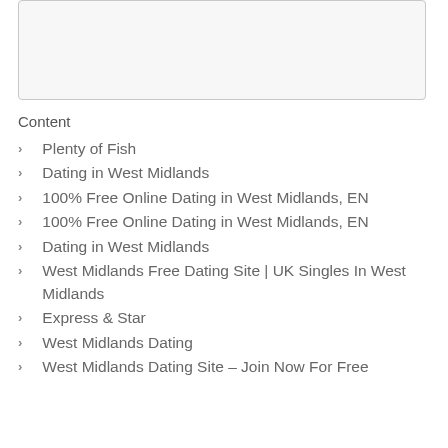[Figure (other): Empty rounded rectangle input/search box with light gray background]
Content
Plenty of Fish
Dating in West Midlands
100% Free Online Dating in West Midlands, EN
100% Free Online Dating in West Midlands, EN
Dating in West Midlands
West Midlands Free Dating Site | UK Singles In West Midlands
Express & Star
West Midlands Dating
West Midlands Dating Site – Join Now For Free